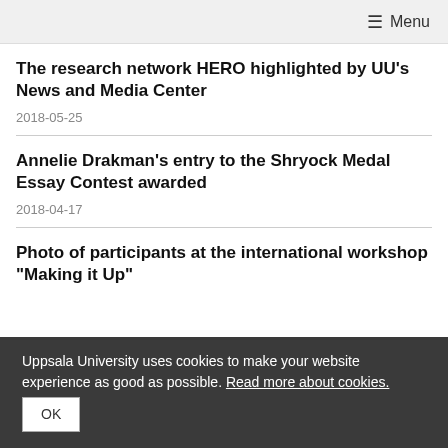☰ Menu
The research network HERO highlighted by UU's News and Media Center
2018-05-25
Annelie Drakman's entry to the Shryock Medal Essay Contest awarded
2018-04-17
Photo of participants at the international workshop "Making it Up"
Uppsala University uses cookies to make your website experience as good as possible. Read more about cookies. OK